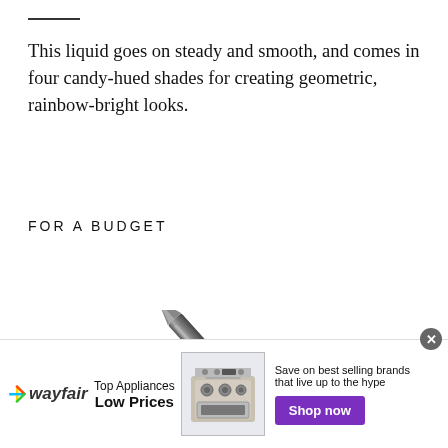This liquid goes on steady and smooth, and comes in four candy-hued shades for creating geometric, rainbow-bright looks.
FOR A BUDGET
[Figure (photo): A black metallic stylus or eyeliner pencil photographed at a diagonal angle against a white background]
[Figure (other): Wayfair advertisement banner: Top Appliances Low Prices, Save on best selling brands that live up to the hype, Shop now button, appliance image]